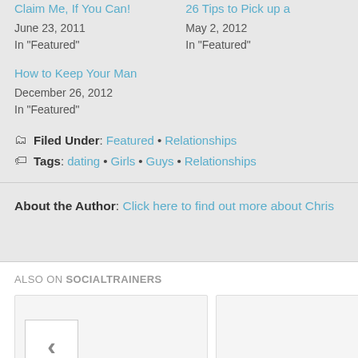Claim Me, If You Can! — June 23, 2011 — In "Featured"
26 Tips to Pick up a… — May 2, 2012 — In "Featured"
How to Keep Your Man — December 26, 2012 — In "Featured"
Filed Under: Featured • Relationships
Tags: dating • Girls • Guys • Relationships
About the Author: Click here to find out more about Chris
ALSO ON SOCIALTRAINERS